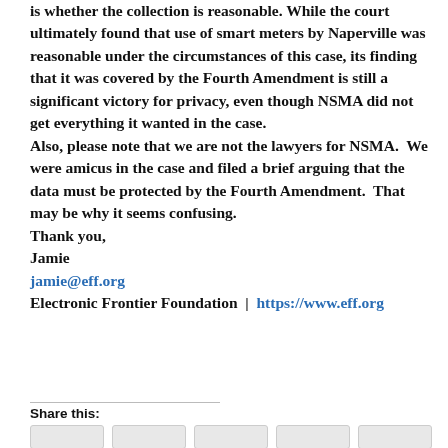is whether the collection is reasonable. While the court ultimately found that use of smart meters by Naperville was reasonable under the circumstances of this case, its finding that it was covered by the Fourth Amendment is still a significant victory for privacy, even though NSMA did not get everything it wanted in the case. Also, please note that we are not the lawyers for NSMA.  We were amicus in the case and filed a brief arguing that the data must be protected by the Fourth Amendment.  That may be why it seems confusing.
Thank you,
Jamie
jamie@eff.org
Electronic Frontier Foundation  |  https://www.eff.org
Share this: